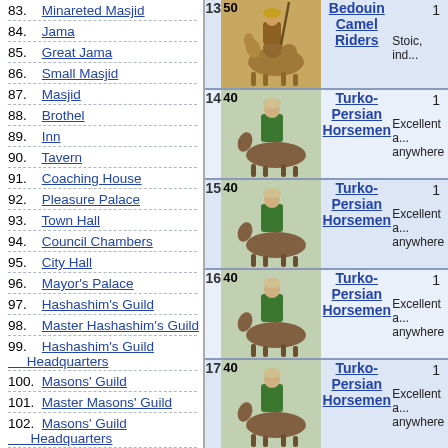83. Minareted Masjid
84. Jama
85. Great Jama
86. Small Masjid
87. Masjid
88. Brothel
89. Inn
90. Tavern
91. Coaching House
92. Pleasure Palace
93. Town Hall
94. Council Chambers
95. City Hall
96. Mayor's Palace
97. Hashashim's Guild
98. Master Hashashim's Guild
99. Hashashim's Guild Headquarters
100. Masons' Guild
101. Master Masons' Guild
102. Masons' Guild Headquarters
103. Theologians' Guild
104. Master Theologians' Guild
| # | Image | Name | Info |
| --- | --- | --- | --- |
| 13 | 50 | Bedouin Camel Riders | 1
Stoic, ind... |
| 14 | 40 | Turko-Persian Horsemen | 1
Excellent a... anywhere |
| 15 | 40 | Turko-Persian Horsemen | 1
Excellent a... anywhere |
| 16 | 40 | Turko-Persian Horsemen | 1
Excellent a... anywhere |
| 17 | 40 | Turko-Persian Horsemen | 1
Excellent a... anywhere |
| 18 | 22 | Rajput Elephant Archers | 1
Bound to s... stampede |
| 19 | 22 | Rajput Elephant Archers | 1
Bound to... |